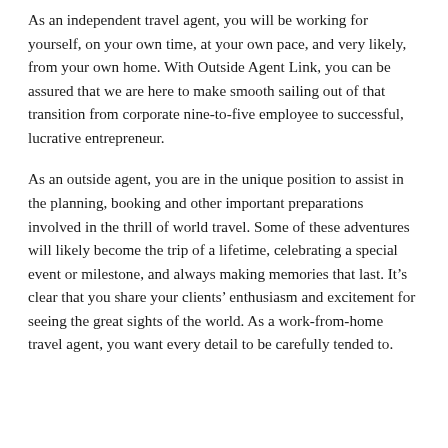As an independent travel agent, you will be working for yourself, on your own time, at your own pace, and very likely, from your own home. With Outside Agent Link, you can be assured that we are here to make smooth sailing out of that transition from corporate nine-to-five employee to successful, lucrative entrepreneur.
As an outside agent, you are in the unique position to assist in the planning, booking and other important preparations involved in the thrill of world travel. Some of these adventures will likely become the trip of a lifetime, celebrating a special event or milestone, and always making memories that last. It's clear that you share your clients' enthusiasm and excitement for seeing the great sights of the world. As a work-from-home travel agent, you want every detail to be carefully tended to.